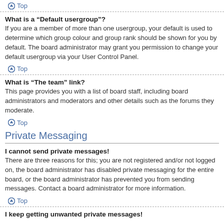Top
What is a “Default usergroup”?
If you are a member of more than one usergroup, your default is used to determine which group colour and group rank should be shown for you by default. The board administrator may grant you permission to change your default usergroup via your User Control Panel.
Top
What is “The team” link?
This page provides you with a list of board staff, including board administrators and moderators and other details such as the forums they moderate.
Top
Private Messaging
I cannot send private messages!
There are three reasons for this; you are not registered and/or not logged on, the board administrator has disabled private messaging for the entire board, or the board administrator has prevented you from sending messages. Contact a board administrator for more information.
Top
I keep getting unwanted private messages!